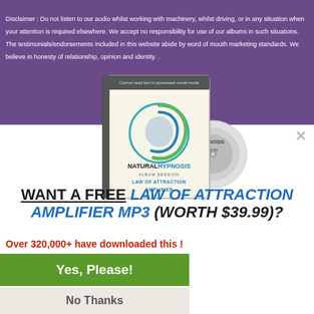Disclaimer : Do not listen to our audio whilst working with machinery, whilst driving, or in any situation when your attention is required elsewhere. We accept no responsibility for use of our albums in such situations. The testimonials/endorsements included in this website abide by word of mouth marketing standards. We believe in honesty of relationship, opinion and identity. .
[Figure (illustration): Natural Hypnosis Album Session - Law of Attraction Amplifier product box and CD]
×
WANT A FREE LAW OF ATTRACTION AMPLIFIER MP3 (WORTH $39.99)?
Over 320,000+ have downloaded this !
Yes, Please!
No Thanks